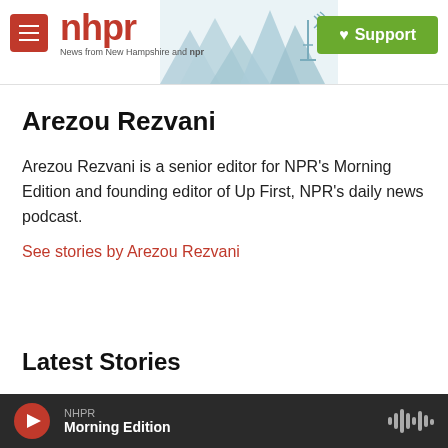nhpr — News from New Hampshire and NPR | Support
Arezou Rezvani
Arezou Rezvani is a senior editor for NPR's Morning Edition and founding editor of Up First, NPR's daily news podcast.
See stories by Arezou Rezvani
Latest Stories
NHPR Morning Edition